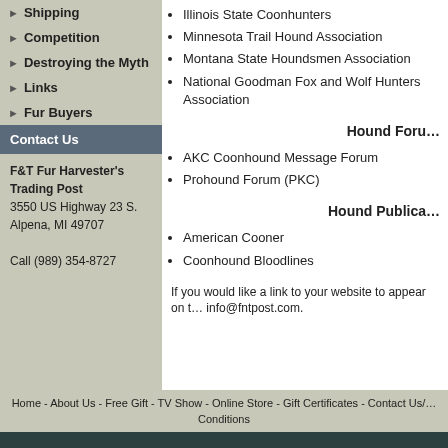Shipping
Competition
Destroying the Myth
Links
Fur Buyers
Contact Us
F&T Fur Harvester's Trading Post
3550 US Highway 23 S.
Alpena, MI 49707

Call (989) 354-8727
Illinois State Coonhunters
Minnesota Trail Hound Association
Montana State Houndsmen Association
National Goodman Fox and Wolf Hunters Association
Hound Foru…
AKC Coonhound Message Forum
Prohound Forum (PKC)
Hound Publica…
American Cooner
Coonhound Bloodlines
If you would like a link to your website to appear on t… info@fntpost.com.
Home - About Us - Free Gift - TV Show - Online Store - Gift Certificates - Contact Us/… Conditions